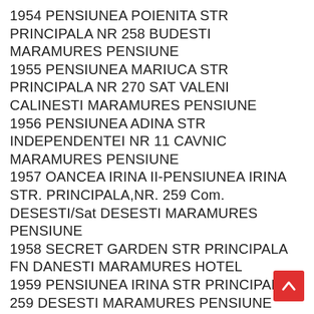1954 PENSIUNEA POIENITA STR PRINCIPALA NR 258 BUDESTI MARAMURES PENSIUNE
1955 PENSIUNEA MARIUCA STR PRINCIPALA NR 270 SAT VALENI CALINESTI MARAMURES PENSIUNE
1956 PENSIUNEA ADINA STR INDEPENDENTEI NR 11 CAVNIC MARAMURES PENSIUNE
1957 OANCEA IRINA II-PENSIUNEA IRINA STR. PRINCIPALA,NR. 259 Com. DESESTI/Sat DESESTI MARAMURES PENSIUNE
1958 SECRET GARDEN STR PRINCIPALA FN DANESTI MARAMURES HOTEL
1959 PENSIUNEA IRINA STR PRINCIPALA 259 DESESTI MARAMURES PENSIUNE